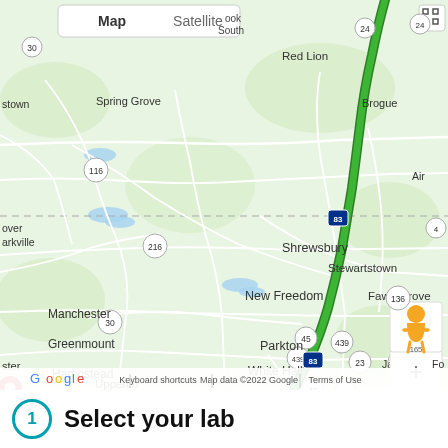[Figure (map): Google Maps screenshot showing a road map of an area in Pennsylvania/Maryland including cities such as Spring Grove, Red Lion, Brogue, Shrewsbury, Stewartstown, New Freedom, Fawn Grove, Manchester, Parkton, Greenmount, White Hall, Hampstead, Jarrettsville, Monkton, Upperco, Sparks Glencoe. Interstate 83 is highlighted in green running north-south. Route numbers visible include 116, 216, 30, 45, 83, 439, 23, 25, 136, 146, 165. A yellow Pegman icon is visible in the lower right. Map/Satellite toggle visible at top. Zoom +/- controls visible at lower right. Google logo at bottom left. Footer text: Keyboard shortcuts | Map data ©2022 Google | Terms of Use.]
① Select your lab